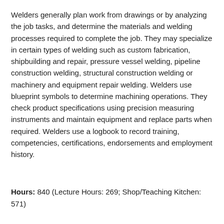Welders generally plan work from drawings or by analyzing the job tasks, and determine the materials and welding processes required to complete the job. They may specialize in certain types of welding such as custom fabrication, shipbuilding and repair, pressure vessel welding, pipeline construction welding, structural construction welding or machinery and equipment repair welding. Welders use blueprint symbols to determine machining operations. They check product specifications using precision measuring instruments and maintain equipment and replace parts when required. Welders use a logbook to record training, competencies, certifications, endorsements and employment history.
Hours: 840 (Lecture Hours: 269; Shop/Teaching Kitchen: 571)
Prerequisites:
None